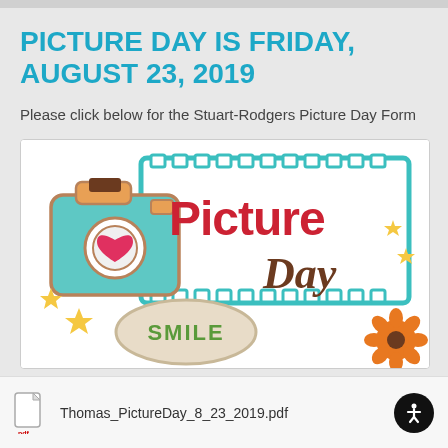PICTURE DAY IS FRIDAY, AUGUST 23, 2019
Please click below for the Stuart-Rodgers Picture Day Form
[Figure (illustration): Colorful cartoon-style 'Picture Day' graphic with a camera, heart, film strip, 'SMILE' speech bubble, sparkles, and a flower. The word 'Picture' is in large red letters and 'Day' in brown script.]
Thomas_PictureDay_8_23_2019.pdf